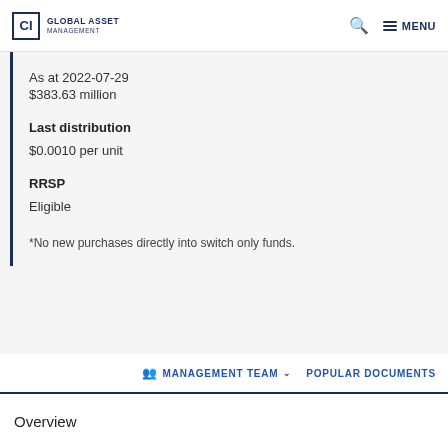CI GLOBAL ASSET MANAGEMENT   🔍   ≡ MENU
As at 2022-07-29
$383.63 million
Last distribution
$0.0010 per unit
RRSP
Eligible
*No new purchases directly into switch only funds.
MANAGEMENT TEAM ∨   POPULAR DOCUMENTS
Overview